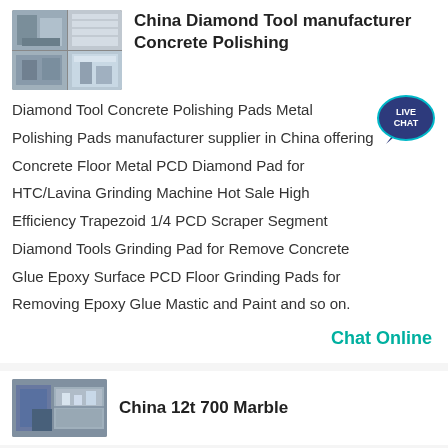[Figure (photo): Collage of construction/industrial product photos for China Diamond Tool manufacturer Concrete Polishing]
China Diamond Tool manufacturer Concrete Polishing
Diamond Tool Concrete Polishing Pads Metal Polishing Pads manufacturer supplier in China offering Concrete Floor Metal PCD Diamond Pad for HTC/Lavina Grinding Machine Hot Sale High Efficiency Trapezoid 1/4 PCD Scraper Segment Diamond Tools Grinding Pad for Remove Concrete Glue Epoxy Surface PCD Floor Grinding Pads for Removing Epoxy Glue Mastic and Paint and so on.
[Figure (logo): Live Chat speech bubble badge icon in teal/dark blue]
Chat Online
[Figure (photo): Industrial/stone machinery photo for China 12t 700 Marble listing]
China 12t 700 Marble